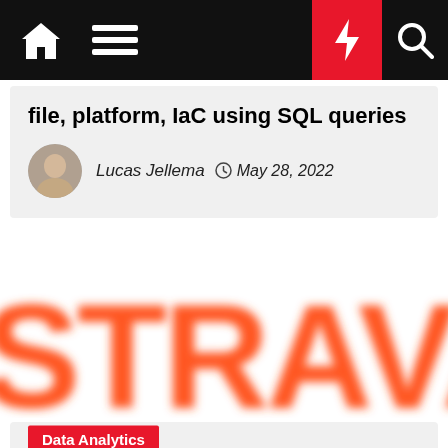Navigation bar with home, menu, bolt, and search icons
file, platform, IaC using SQL queries
Lucas Jellema  May 28, 2022
[Figure (logo): Strava logo in orange, partially cropped showing letters STRAV]
Data Analytics